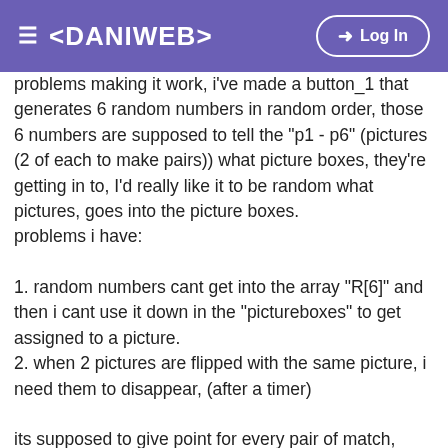≡ <DANIWEB> → Log In
problems making it work, i've made a button_1 that generates 6 random numbers in random order, those 6 numbers are supposed to tell the "p1 - p6" (pictures (2 of each to make pairs)) what picture boxes, they're getting in to, I'd really like it to be random what pictures, goes into the picture boxes.
problems i have:

1. random numbers cant get into the array "R[6]" and then i cant use it down in the "pictureboxes" to get assigned to a picture.
2. when 2 pictures are flipped with the same picture, i need them to disappear, (after a timer)

its supposed to give point for every pair of match,
in this code, there's only 6 picture boxes, i need like 25-30
i only got 3 different pictures in this code, again i need like 6
so that there's 5 pairs of each picture if you got any solutions, or questions regarding what i need in my game,
please e-mail me on <<snip>>